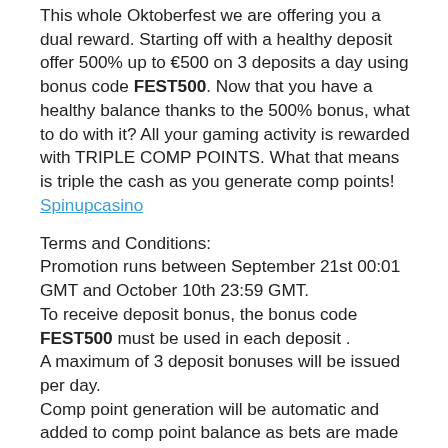This whole Oktoberfest we are offering you a dual reward. Starting off with a healthy deposit offer 500% up to €500 on 3 deposits a day using bonus code FEST500. Now that you have a healthy balance thanks to the 500% bonus, what to do with it? All your gaming activity is rewarded with TRIPLE COMP POINTS. What that means is triple the cash as you generate comp points! Spinupcasino
Terms and Conditions:
Promotion runs between September 21st 00:01 GMT and October 10th 23:59 GMT.
To receive deposit bonus, the bonus code FEST500 must be used in each deposit .
A maximum of 3 deposit bonuses will be issued per day.
Comp point generation will be automatic and added to comp point balance as bets are made through the weekend.
Spinupcasino General Bonus T&C apply.
SPIN UP YOUR FIRST DEPOSIT TODAY!
Collect the best welcome bonus in today's online casino market